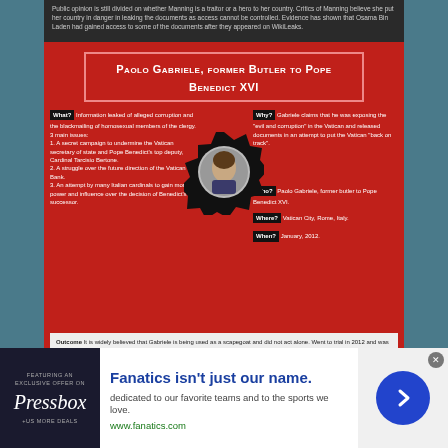Public opinion is still divided on whether Manning is a traitor or a hero to her country. Critics of Manning believe she put her country in danger in leaking the documents as access cannot be controlled. Evidence has shown that Osama Bin Laden had gained access to some of the documents after they appeared on WikiLeaks.
Paolo Gabriele, former Butler to Pope Benedict XVI
[Figure (infographic): Infographic about Paolo Gabriele with gear/photo center element, What/Why/Who/Where/When labels, and outcome box]
Edward Snowden
[Figure (infographic): Infographic about Edward Snowden with gear/photo center element, What/Why/Who/Where/When labels]
Fanatics isn't just our name. dedicated to our favorite teams and to the sports we love. www.fanatics.com